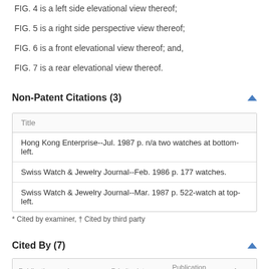FIG. 4 is a left side elevational view thereof;
FIG. 5 is a right side perspective view thereof;
FIG. 6 is a front elevational view thereof; and,
FIG. 7 is a rear elevational view thereof.
Non-Patent Citations (3)
| Title |
| --- |
| Hong Kong Enterprise--Jul. 1987 p. n/a two watches at bottom-left. |
| Swiss Watch & Jewelry Journal--Feb. 1986 p. 177 watches. |
| Swiss Watch & Jewelry Journal--Mar. 1987 p. 522-watch at top-left. |
* Cited by examiner, † Cited by third party
Cited By (7)
| Publication number | Priority date | Publication date | Ass |
| --- | --- | --- | --- |